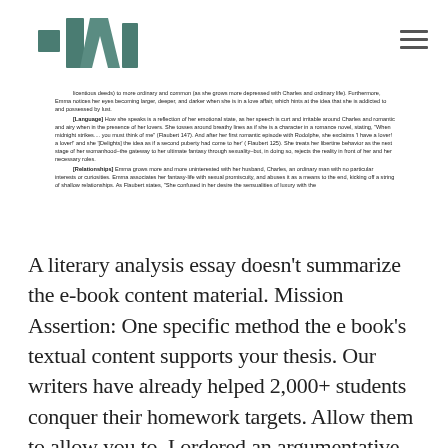[Figure (logo): TW logo mark in teal/dark teal geometric shapes]
licentious deeds) to more ordinary and common (as she grows more depressed with Charles and ordinary life). Furthermore, Emma notices her eyes becoming larger, deeper, and darker when she is in a love affair, which hints at the idea that she is addicted to and possessed by lust.
[Language] How she speaks is a reflection of her emotional state, as her speech is curt and irritable around Charles and romantic and airy when in the presence of her lovers. She tosses around breathy lines as if she is a character in a romance novel, stating, "When midnight strikes.... you must think of me" (Flaubert 147). And after her first romantic episode with Rodolphe, she exclaims 'I have a lover! a lover!' and she '[Delights] the idea as if a second puberty had come to her' ( Flaubert 125). She treats her libertine behavior as the next stage of her womanhood–the gateway to her ultimate fantasy through sexuality–but, in doing so, rejects the reality in front of her and her necessary roles.
[Relationships] Emma grows more and more uninterested with her husband, Charles, an ordinary man with no particular interests or curiosities. Emma associates her fantasy-life with sexual promiscuity, and abuses it as a means to the end, kicking off a string of shallow relationships. As Flaubert states, "She confused in her desire the sensualities of luxury with the
A literary analysis essay doesn’t summarize the e-book content material. Mission Assertion: One specific method the e book’s textual content supports your thesis. Our writers have already helped 2,000+ students conquer their homework targets. Allow them to allow you to. I ordered an argumentative essay here.